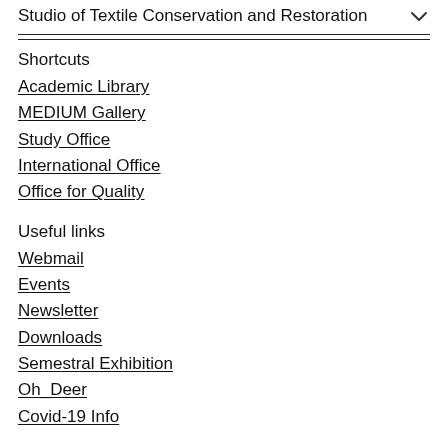Studio of Textile Conservation and Restoration
Shortcuts
Academic Library
MEDIUM Gallery
Study Office
International Office
Office for Quality
Useful links
Webmail
Events
Newsletter
Downloads
Semestral Exhibition
Oh_Deer
Covid-19 Info